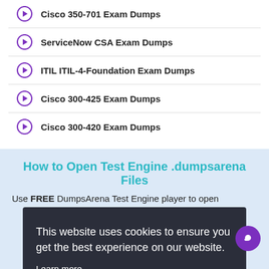Cisco 350-701 Exam Dumps
ServiceNow CSA Exam Dumps
ITIL ITIL-4-Foundation Exam Dumps
Cisco 300-425 Exam Dumps
Cisco 300-420 Exam Dumps
How to Open Test Engine .dumpsarena Files
Use FREE DumpsArena Test Engine player to open
This website uses cookies to ensure you get the best experience on our website.
Learn more
Got it!